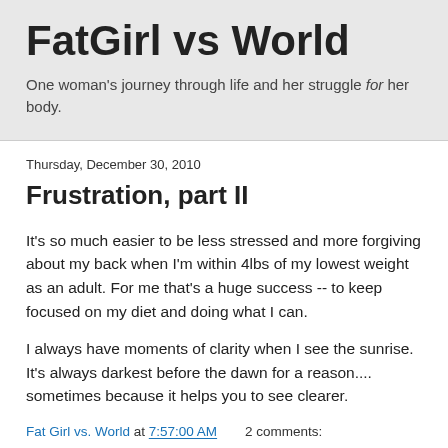FatGirl vs World
One woman's journey through life and her struggle for her body.
Thursday, December 30, 2010
Frustration, part II
It's so much easier to be less stressed and more forgiving about my back when I'm within 4lbs of my lowest weight as an adult.  For me that's a huge success -- to keep focused on my diet and doing what I can.
I always have moments of clarity when I see the sunrise.  It's always darkest before the dawn for a reason.... sometimes because it helps you to see clearer.
Fat Girl vs. World at 7:57:00 AM    2 comments: